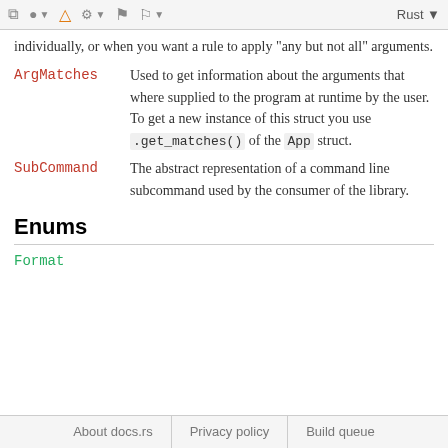toolbar with icons and Rust label
individually, or when you want a rule to apply "any but not all" arguments.
ArgMatches — Used to get information about the arguments that where supplied to the program at runtime by the user. To get a new instance of this struct you use .get_matches() of the App struct.
SubCommand — The abstract representation of a command line subcommand used by the consumer of the library.
Enums
Format
About docs.rs   Privacy policy   Build queue